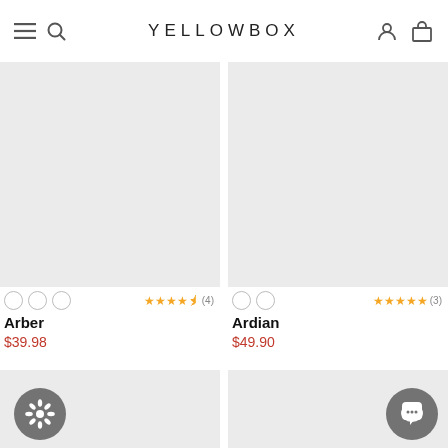YELLOWBOX
[Figure (photo): Product image placeholder for Arber shoe, light gray background]
[Figure (photo): Product image placeholder for Ardian shoe, light gray background]
Arber
$39.98
Ardian
$49.90
[Figure (photo): Product image placeholder bottom left with flower icon overlay]
[Figure (photo): Product image placeholder bottom right with chat bubble icon overlay]